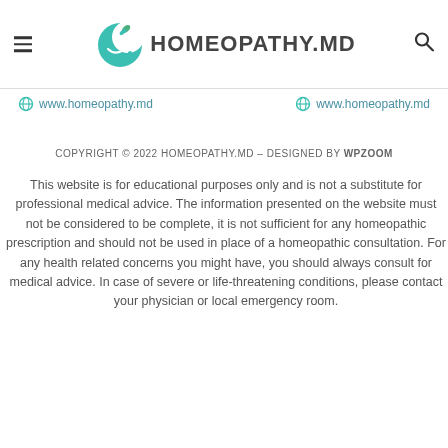[Figure (logo): Homeopathy.MD website header with teal crescent moon logo and hamburger menu and search icon]
www.homeopathy.md  www.homeopathy.md
COPYRIGHT © 2022 HOMEOPATHY.MD – DESIGNED BY WPZOOM
This website is for educational purposes only and is not a substitute for professional medical advice. The information presented on the website must not be considered to be complete, it is not sufficient for any homeopathic prescription and should not be used in place of a homeopathic consultation. For any health related concerns you might have, you should always consult for medical advice. In case of severe or life-threatening conditions, please contact your physician or local emergency room.